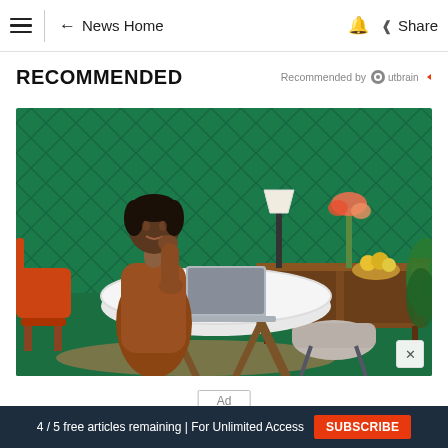≡  ← News Home  🔔  ⋖ Share
RECOMMENDED
Recommended by Outbrain
[Figure (photo): Woman in orange outfit sitting at a round white table with a laptop, in a mid-century modern styled room with green patterned walls, an orange chair to the left, a wooden credenza in the background with fruit and items on top, and green plants.]
Ad
4 / 5 free articles remaining | For Unlimited Access  SUBSCRIBE